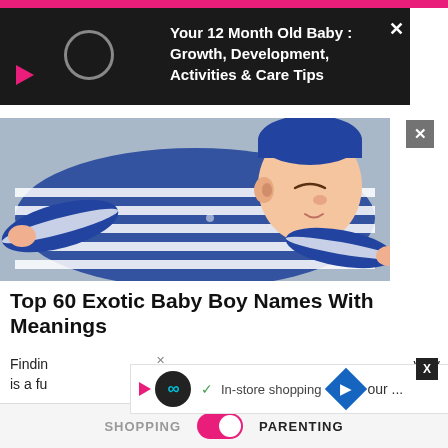[Figure (screenshot): Black popup notification bar with pink play arrow icon, circular loading indicator, and white bold text reading 'Your 12 Month Old Baby : Growth, Development, Activities & Care Tips' with X close button]
[Figure (photo): Sleeping baby wearing blue and white striped onesie lying on blue background, face resting on surface with arms spread out]
Top 60 Exotic Baby Boy Names With Meanings
Finding the right name for your baby is a very important and fulfilling task. Finding one is a fu... our ...
[Figure (screenshot): Ad overlay bar with dark circular logo with infinity symbol, checkmark, 'In-store shopping' text, blue diamond arrow icon, and X close button]
SHOPPING     PARENTING